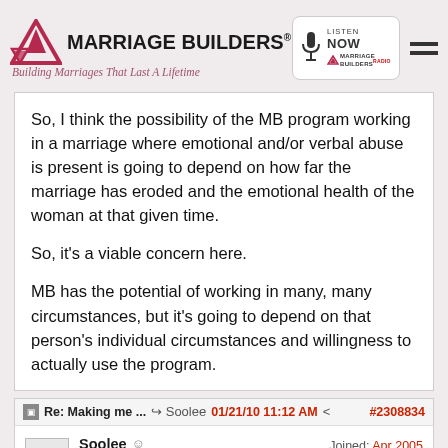[Figure (logo): Marriage Builders logo with triangles and tagline 'Building Marriages That Last A Lifetime']
[Figure (logo): Listen Now Marriage Builders Radio logo in rounded rectangle box]
So, I think the possibility of the MB program working in a marriage where emotional and/or verbal abuse is present is going to depend on how far the marriage has eroded and the emotional health of the woman at that given time.

So, it's a viable concern here.

MB has the potential of working in many, many circumstances, but it's going to depend on that person's individual circumstances and willingness to actually use the program.
Re: Making me ... → Soolee 01/21/10 11:12 AM < #2308834
Soolee Member Joined: Apr 2005 Posts: 5,234